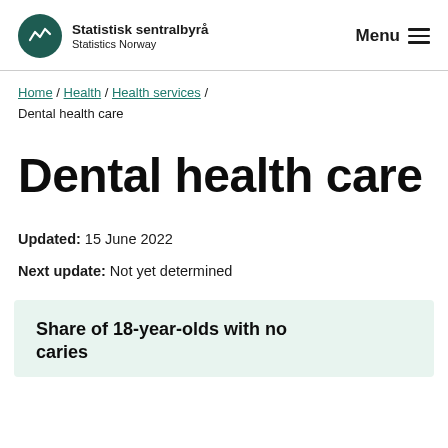Statistisk sentralbyrå Statistics Norway | Menu
Home / Health / Health services / Dental health care
Dental health care
Updated: 15 June 2022
Next update: Not yet determined
Share of 18-year-olds with no caries